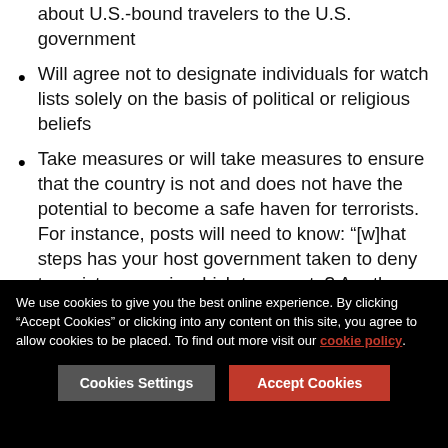about U.S.-bound travelers to the U.S. government
Will agree not to designate individuals for watch lists solely on the basis of political or religious beliefs
Take measures or will take measures to ensure that the country is not and does not have the potential to become a safe haven for terrorists. For instance, posts will need to know: “[w]hat steps has your host government taken to deny terrorists space in which to operate? Are there ungoverned, under-governed, or ill-governed physical areas in the host country or bureaucratic practices that allow mala fide travelers to use host country passports to travel to the United States?”
Agree to repatriate their own nationals who have been removed from the United States
We use cookies to give you the best online experience. By clicking “Accept Cookies” or clicking into any content on this site, you agree to allow cookies to be placed. To find out more visit our cookie policy.